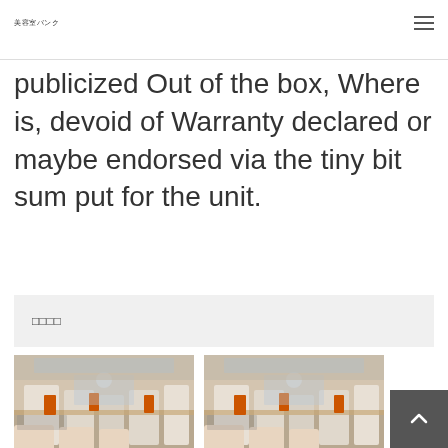美容室バンク
publicized Out of the box, Where is, devoid of Warranty declared or maybe endorsed via the tiny bit sum put for the unit.
□□□□
[Figure (photo): Interior of a hair salon with orange and white chairs and styling stations]
□□□□□□□□□□　□□□
□□□□□
[Figure (photo): Interior of a hair salon with orange and white chairs and styling stations]
□□□□□□□□□□　□□□
□□